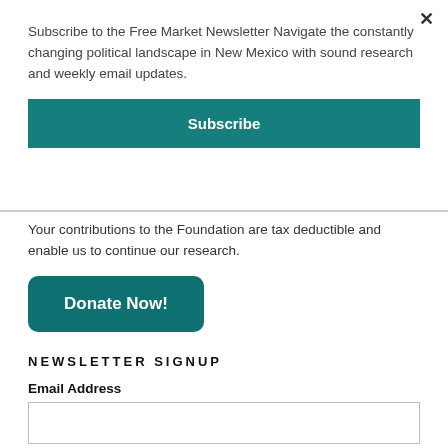×
Subscribe to the Free Market Newsletter Navigate the constantly changing political landscape in New Mexico with sound research and weekly email updates.
Subscribe
Your contributions to the Foundation are tax deductible and enable us to continue our research.
Donate Now!
NEWSLETTER SIGNUP
Email Address